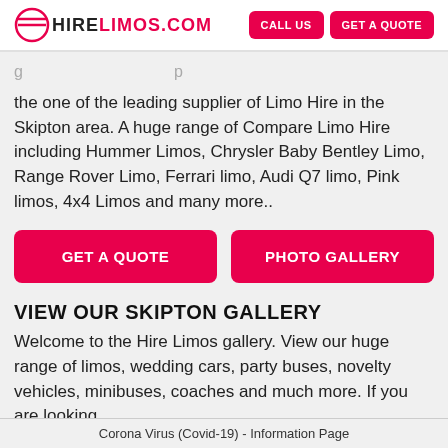HIRELIMOS.COM | CALL US | GET A QUOTE
the one of the leading supplier of Limo Hire in the Skipton area. A huge range of Compare Limo Hire including Hummer Limos, Chrysler Baby Bentley Limo, Range Rover Limo, Ferrari limo, Audi Q7 limo, Pink limos, 4x4 Limos and many more..
GET A QUOTE   PHOTO GALLERY
VIEW OUR SKIPTON GALLERY
Welcome to the Hire Limos gallery. View our huge range of limos, wedding cars, party buses, novelty vehicles, minibuses, coaches and much more. If you are looking
Corona Virus (Covid-19) - Information Page